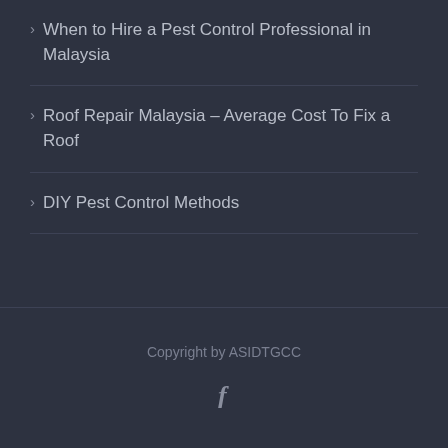When to Hire a Pest Control Professional in Malaysia
Roof Repair Malaysia – Average Cost To Fix a Roof
DIY Pest Control Methods
Copyright by ASIDTGCC